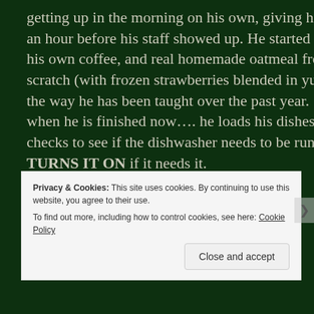getting up in the morning on his own, giving himself an hour before his staff showed up. He started making his own coffee, and real homemade oatmeal from scratch (with frozen strawberries blended in yummm), the way he has been taught over the past year.  and when he is finished now…. he loads his dishes and checks to see if the dishwasher needs to be run, and TURNS IT ON if it needs it.
Privacy & Cookies: This site uses cookies. By continuing to use this website, you agree to their use.
To find out more, including how to control cookies, see here: Cookie Policy